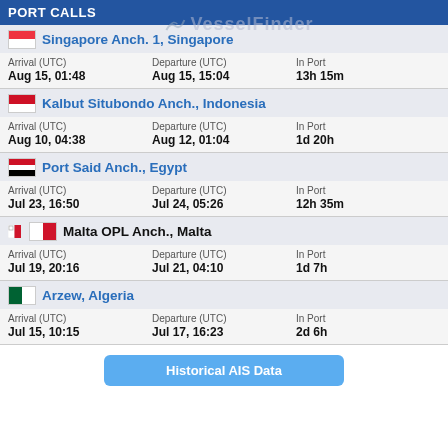PORT CALLS
Singapore Anch. 1, Singapore
| Arrival (UTC) | Departure (UTC) | In Port |
| --- | --- | --- |
| Aug 15, 01:48 | Aug 15, 15:04 | 13h 15m |
Kalbut Situbondo Anch., Indonesia
| Arrival (UTC) | Departure (UTC) | In Port |
| --- | --- | --- |
| Aug 10, 04:38 | Aug 12, 01:04 | 1d 20h |
Port Said Anch., Egypt
| Arrival (UTC) | Departure (UTC) | In Port |
| --- | --- | --- |
| Jul 23, 16:50 | Jul 24, 05:26 | 12h 35m |
Malta OPL Anch., Malta
| Arrival (UTC) | Departure (UTC) | In Port |
| --- | --- | --- |
| Jul 19, 20:16 | Jul 21, 04:10 | 1d 7h |
Arzew, Algeria
| Arrival (UTC) | Departure (UTC) | In Port |
| --- | --- | --- |
| Jul 15, 10:15 | Jul 17, 16:23 | 2d 6h |
Historical AIS Data